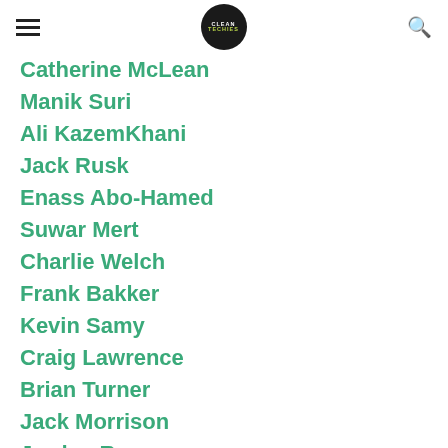CLEANTECHIES
Catherine McLean
Manik Suri
Ali KazemKhani
Jack Rusk
Enass Abo-Hamed
Suwar Mert
Charlie Welch
Frank Bakker
Kevin Samy
Craig Lawrence
Brian Turner
Jack Morrison
Jordan Ramer
Omeed Badkoobeh